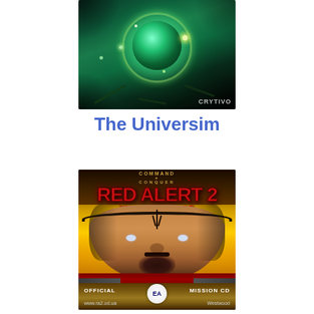[Figure (photo): Screenshot/cover art of The Universim game showing a glowing green orb/planet with mechanical rings and sparkles against a dark background, with CRYTIVO logo in bottom right]
The Universim
[Figure (photo): Cover of Command & Conquer Red Alert 2: Yuri's Revenge showing a bald man with mind-control mark on forehead against yellow lightning background, with OFFICIAL MISSION CD text, EA Games logo, www.ra2.od.ua and Westwood branding at bottom]